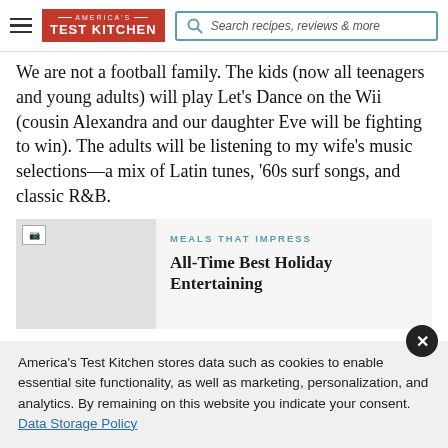America's Test Kitchen — Search recipes, reviews & more
We are not a football family. The kids (now all teenagers and young adults) will play Let's Dance on the Wii (cousin Alexandra and our daughter Eve will be fighting to win). The adults will be listening to my wife's music selections—a mix of Latin tunes, '60s surf songs, and classic R&B.
[Figure (photo): Thumbnail image placeholder for article]
MEALS THAT IMPRESS
All-Time Best Holiday Entertaining
America's Test Kitchen stores data such as cookies to enable essential site functionality, as well as marketing, personalization, and analytics. By remaining on this website you indicate your consent. Data Storage Policy